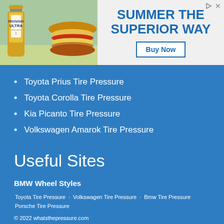[Figure (other): Advertisement banner showing beer bottle and burger on left, text 'SUMMER THE SUPERIOR WAY' with Buy Now button on right]
Toyota Prius Tire Pressure
Toyota Corolla Tire Pressure
Kia Picanto Tire Pressure
Volkswagen Amarok Tire Pressure
Useful Sites
BMW Wheel Styles
Toyota Tire Pressure · Volkswagen Tire Pressure · Bmw Tire Pressure
Porsche Tire Pressure
© 2022 whatsthepressure.com